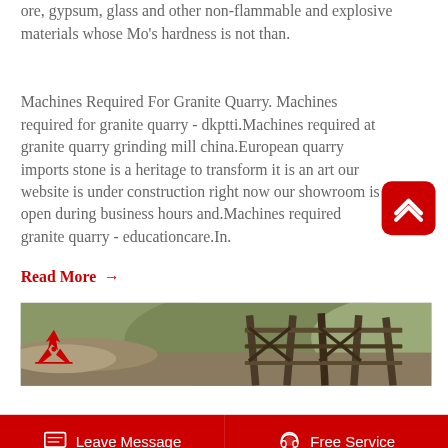ore, gypsum, glass and other non-flammable and explosive materials whose Mo's hardness is not than.
Machines Required For Granite Quarry. Machines required for granite quarry - dkptti.Machines required at granite quarry grinding mill china.European quarry imports stone is a heritage to transform it is an art our website is under construction right now our showroom is open during business hours and.Machines required granite quarry - educationcare.In.
Read More →
[Figure (photo): Outdoor quarry site with rocky terrain and wooden mining structure frame, hills and vegetation in background with red branded logo overlay]
Leave Message   Free Service